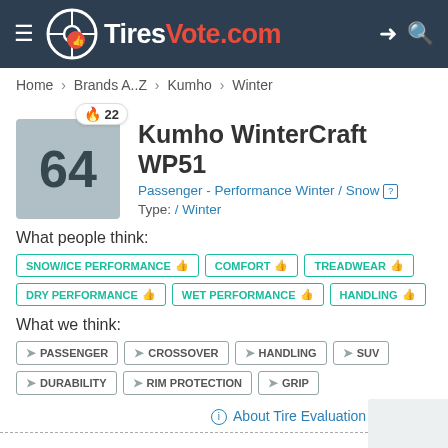TiresVote.com
Home > Brands A..Z > Kumho > Winter
Kumho WinterCraft WP51
Passenger - Performance Winter / Snow
Type: / Winter
What people think:
SNOW/ICE PERFORMANCE
COMFORT
TREADWEAR
DRY PERFORMANCE
WET PERFORMANCE
HANDLING
What we think:
PASSENGER
CROSSOVER
HANDLING
SUV
DURABILITY
RIM PROTECTION
GRIP
About Tire Evaluation Metrics
Key Facts